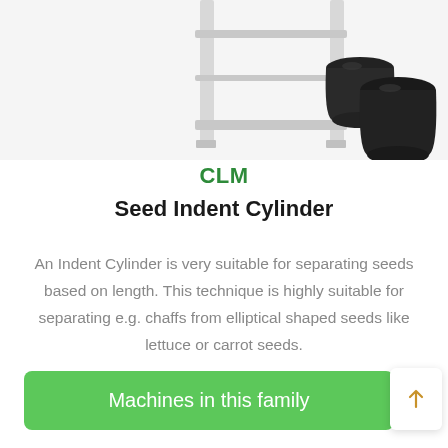[Figure (photo): Partial view of a white metal shelving/machine frame with two black plastic buckets/containers visible on the right side, photo cropped at the top of the page.]
CLM
Seed Indent Cylinder
An Indent Cylinder is very suitable for separating seeds based on length. This technique is highly suitable for separating e.g. chaffs from elliptical shaped seeds like lettuce or carrot seeds.
Machines in this family